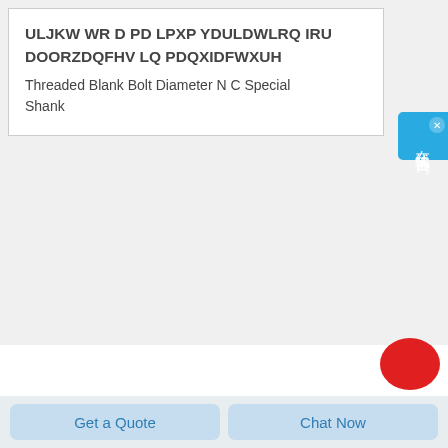ULJKW WR D PD LPXP YDULDWLRQ IRU DOORZDQFHV LQ PDQXIDFWXUH
Threaded Blank Bolt Diameter N C Special Shank
[Figure (photo): Blue cylindrical threaded blank bolt with hollow center visible on the left end, watermarked with KELLER text]
Get a Quote
Chat Now